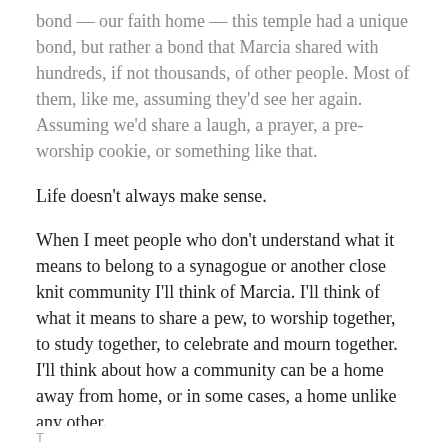bond — our faith home — this temple had a unique bond, but rather a bond that Marcia shared with hundreds, if not thousands, of other people. Most of them, like me, assuming they'd see her again. Assuming we'd share a laugh, a prayer, a pre-worship cookie, or something like that.
Life doesn't always make sense.
When I meet people who don't understand what it means to belong to a synagogue or another close knit community I'll think of Marcia. I'll think of what it means to share a pew, to worship together, to study together, to celebrate and mourn together. I'll think about how a community can be a home away from home, or in some cases, a home unlike any other.
I pray that Marcia's memory be an enduring blessing and that her family and her extended family find comfort in honoring her life.